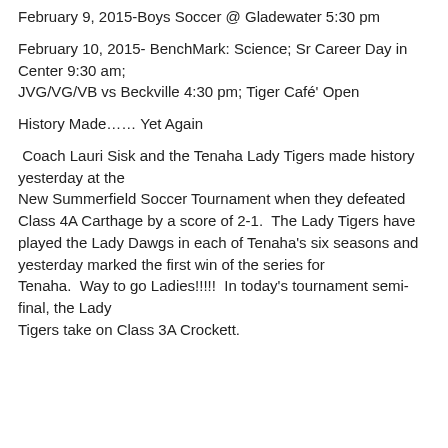February 9, 2015-Boys Soccer @ Gladewater 5:30 pm
February 10, 2015- BenchMark: Science; Sr Career Day in Center 9:30 am;
JVG/VG/VB vs Beckville 4:30 pm; Tiger Café' Open
History Made…… Yet Again
Coach Lauri Sisk and the Tenaha Lady Tigers made history yesterday at the New Summerfield Soccer Tournament when they defeated Class 4A Carthage by a score of 2-1.  The Lady Tigers have played the Lady Dawgs in each of Tenaha's six seasons and yesterday marked the first win of the series for Tenaha.  Way to go Ladies!!!!!  In today's tournament semi-final, the Lady Tigers take on Class 3A Crockett.